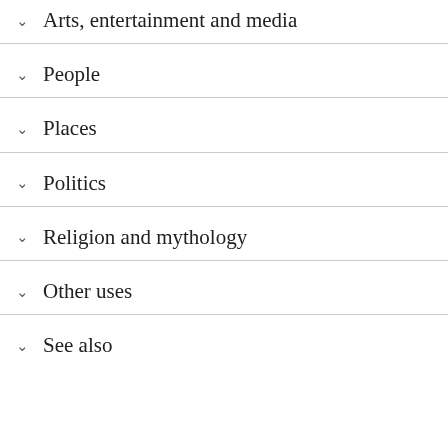Arts, entertainment and media
People
Places
Politics
Religion and mythology
Other uses
See also